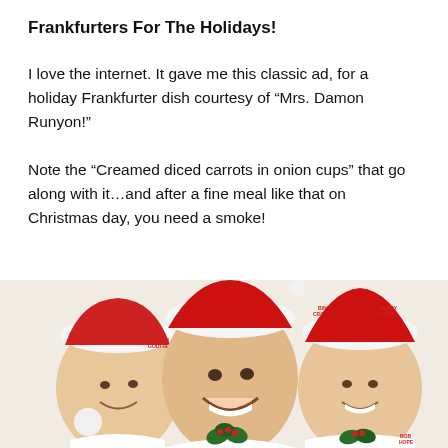Frankfurters For The Holidays!
I love the internet. It gave me this classic ad, for a holiday Frankfurter dish courtesy of “Mrs. Damon Runyon!”
Note the “Creamed diced carrots in onion cups” that go along with it…and after a fine meal like that on Christmas day, you need a smoke!
[Figure (photo): Vintage holiday advertisement showing three smiling men wearing Santa hats and white outfits with holly decorations. Labels in red text identify them as Bing Crosby, Perry Como, Arthur Godfrey, and Bob Hope.]